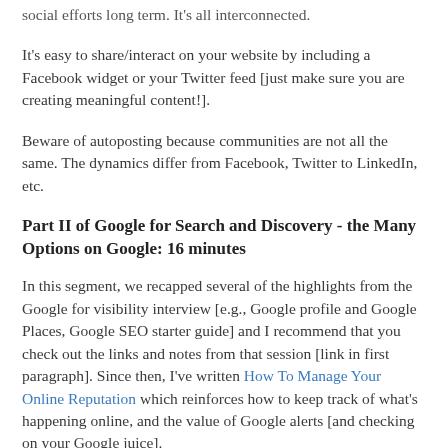social efforts long term. It's all interconnected.
It's easy to share/interact on your website by including a Facebook widget or your Twitter feed [just make sure you are creating meaningful content!].
Beware of autoposting because communities are not all the same. The dynamics differ from Facebook, Twitter to LinkedIn, etc.
Part II of Google for Search and Discovery - the Many Options on Google: 16 minutes
In this segment, we recapped several of the highlights from the Google for visibility interview [e.g., Google profile and Google Places, Google SEO starter guide] and I recommend that you check out the links and notes from that session [link in first paragraph]. Since then, I've written How To Manage Your Online Reputation which reinforces how to keep track of what's happening online, and the value of Google alerts [and checking on your Google juice].
Beware of taking short cuts to improve search engine...